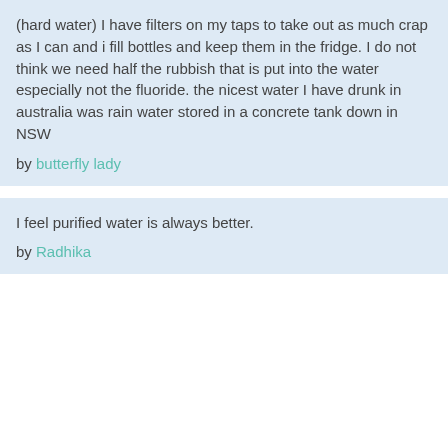(hard water) I have filters on my taps to take out as much crap as I can and i fill bottles and keep them in the fridge. I do not think we need half the rubbish that is put into the water especially not the fluoride. the nicest water I have drunk in australia was rain water stored in a concrete tank down in NSW
by butterfly lady
I feel purified water is always better.
by Radhika